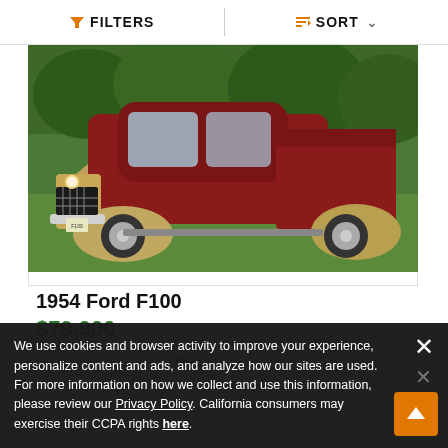FILTERS   SORT
[Figure (photo): A 1954 Ford F100 pickup truck in red and silver/champagne two-tone, parked on grass with trees in background, viewed from front-left quarter angle.]
1954 Ford F100
$79,900
|  |  |
| --- | --- |
| Color | Red |
| Engine | 8 Cylinder |
We use cookies and browser activity to improve your experience, personalize content and ads, and analyze how our sites are used. For more information on how we collect and use this information, please review our Privacy Policy. California consumers may exercise their CCPA rights here.